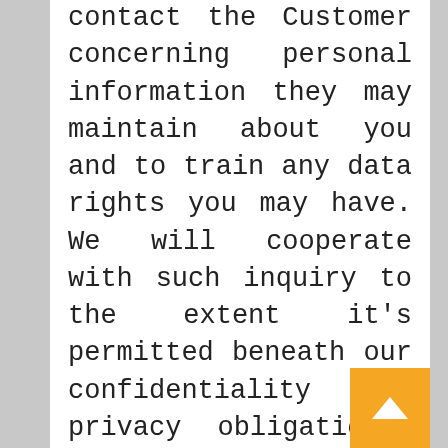contact the Customer concerning personal information they may maintain about you and to train any data rights you may have. We will cooperate with such inquiry to the extent it's permitted beneath our confidentiality and privacy obligations. You could have the best to confirmation as as to whether or not we process your personal data and, the place we do, entry to the personal information.
To see whether or not data on you is retained on our servers, pleaseclick right here. Certain customers are entitled to request copies of their